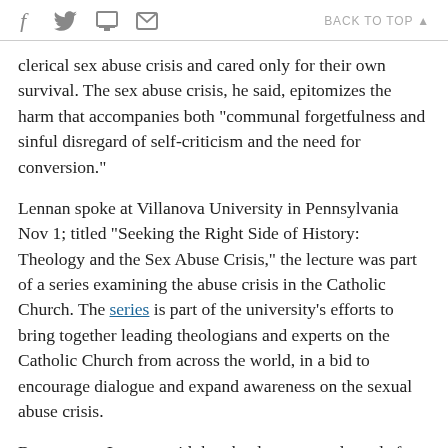f [twitter] [print] [email]   BACK TO TOP
clerical sex abuse crisis and cared only for their own survival. The sex abuse crisis, he said, epitomizes the harm that accompanies both "communal forgetfulness and sinful disregard of self-criticism and the need for conversion."
Lennan spoke at Villanova University in Pennsylvania Nov 1; titled "Seeking the Right Side of History: Theology and the Sex Abuse Crisis," the lecture was part of a series examining the abuse crisis in the Catholic Church. The series is part of the university's efforts to bring together leading theologians and experts on the Catholic Church from across the world, in a bid to encourage dialogue and expand awareness on the sexual abuse crisis.
By contrast, Lennan said that the document released after the recently-held synod for the Amazon gives